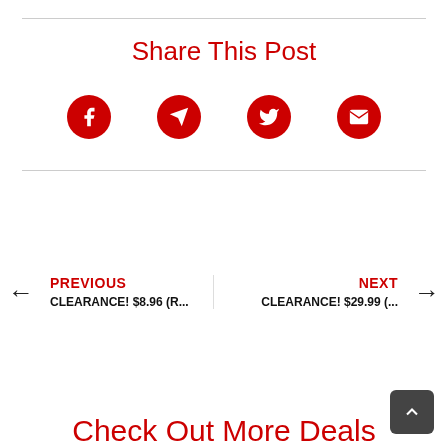Share This Post
[Figure (infographic): Four red social share icons in circles: Facebook, Telegram, Twitter, Email]
PREVIOUS
CLEARANCE! $8.96 (R...
NEXT
CLEARANCE! $29.99 (...
Check Out More Deals